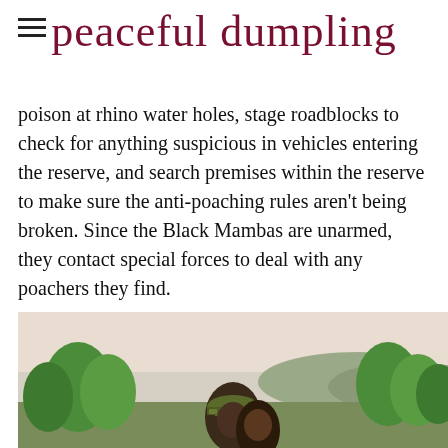peaceful dumpling
poison at rhino water holes, stage roadblocks to check for anything suspicious in vehicles entering the reserve, and search premises within the reserve to make sure the anti-poaching rules aren't being broken. Since the Black Mambas are unarmed, they contact special forces to deal with any poachers they find.
[Figure (photo): Two people outdoors in a nature reserve, one wearing a camouflage cap, with green trees and hills in the background.]